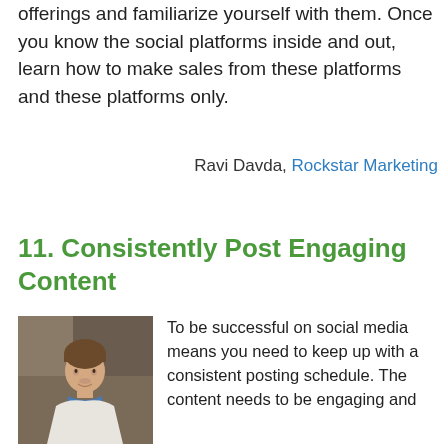offerings and familiarize yourself with them. Once you know the social platforms inside and out, learn how to make sales from these platforms and these platforms only.
Ravi Davda, Rockstar Marketing
11. Consistently Post Engaging Content
[Figure (photo): Headshot photo of a man wearing a white jacket and blue shirt]
To be successful on social media means you need to keep up with a consistent posting schedule. The content needs to be engaging and